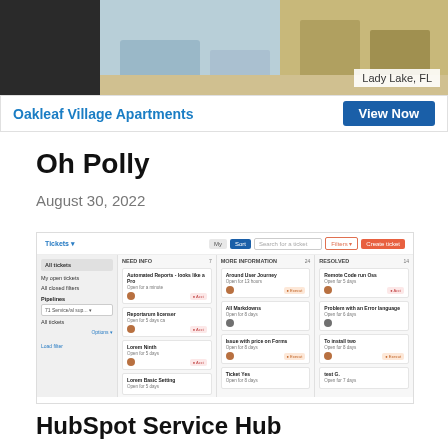[Figure (photo): Ad banner showing apartment interior photo with text overlay 'Lady Lake, FL', property name 'Oakleaf Village Apartments' with blue 'View Now' button]
Oh Polly
August 30, 2022
[Figure (screenshot): Screenshot of HubSpot Service Hub ticket management interface showing Kanban board with columns: Need Info, More Information, and Resolved. Multiple ticket cards visible with avatar icons and status tags.]
HubSpot Service Hub